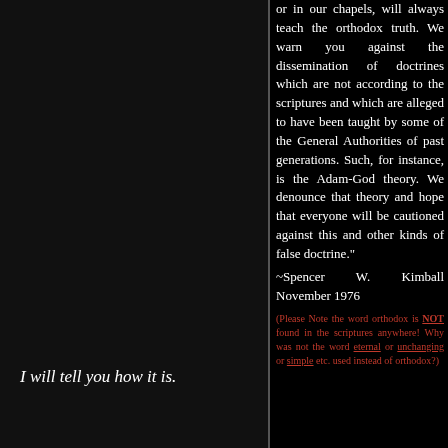I will tell you how it is.
or in our chapels, will always teach the orthodox truth. We warn you against the dissemination of doctrines which are not according to the scriptures and which are alleged to have been taught by some of the General Authorities of past generations. Such, for instance, is the Adam-God theory. We denounce that theory and hope that everyone will be cautioned against this and other kinds of false doctrine." ~Spencer W. Kimball November 1976
(Please Note the word orthodox is NOT found in the scriptures anywhere! Why was not the word eternal or unchanging or simple etc. used instead of orthodox?)